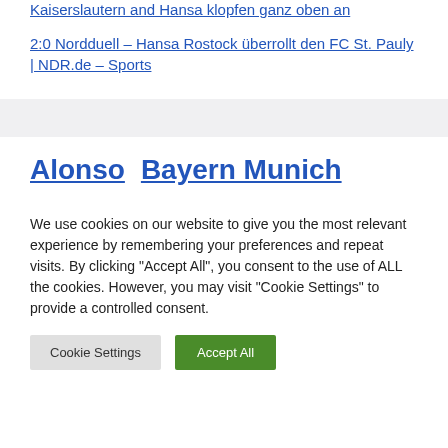Kaiserslautern and Hansa klopfen ganz oben an
2:0 Nordduell – Hansa Rostock überrollt den FC St. Pauly | NDR.de – Sports
Alonso  Bayern Munich
We use cookies on our website to give you the most relevant experience by remembering your preferences and repeat visits. By clicking "Accept All", you consent to the use of ALL the cookies. However, you may visit "Cookie Settings" to provide a controlled consent.